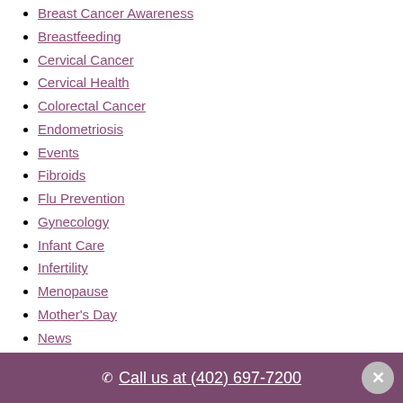Breast Cancer Awareness
Breastfeeding
Cervical Cancer
Cervical Health
Colorectal Cancer
Endometriosis
Events
Fibroids
Flu Prevention
Gynecology
Infant Care
Infertility
Menopause
Mother's Day
News
obstetrics
Pap Smears
Pregnancy
Stress Management
Urinary Incontinence
Call us at (402) 697-7200